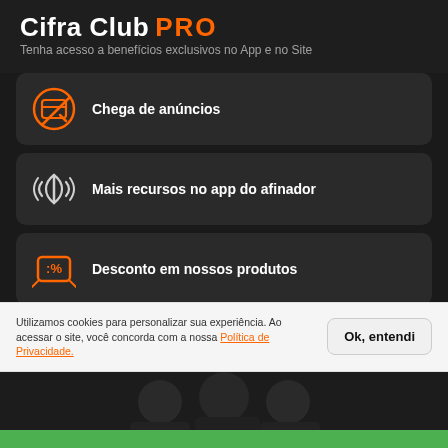Cifra Club PRO
Tenha acesso a benefícios exclusivos no App e no Site
Chega de anúncios
Mais recursos no app do afinador
Desconto em nossos produtos
Entre outras vantagens...
Utilizamos cookies para personalizar sua experiência. Ao acessar o site, você concorda com a nossa Política de Privacidade.
[Figure (photo): Musicians group photo at the bottom of the page]